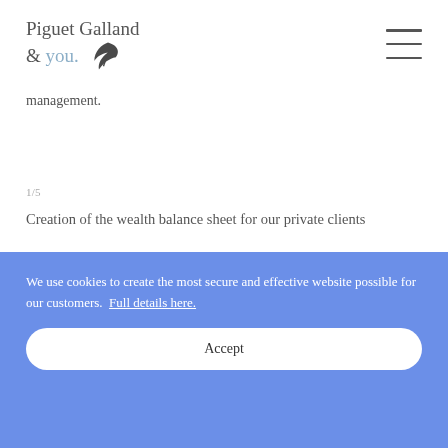Piguet Galland & you.
management.
1/5
Creation of the wealth balance sheet for our private clients
We use cookies to create the most secure and effective website possible for our customers. Full details here.
Accept